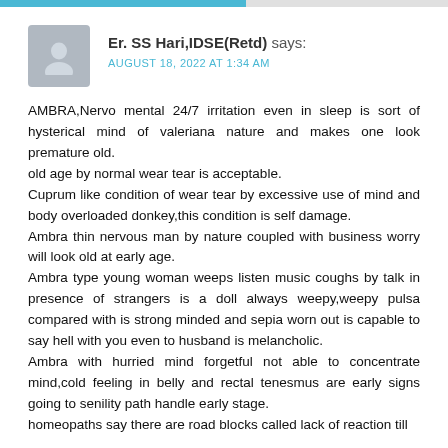Er. SS Hari,IDSE(Retd) says:
AUGUST 18, 2022 AT 1:34 AM
AMBRA,Nervo mental 24/7 irritation even in sleep is sort of hysterical mind of valeriana nature and makes one look premature old.
old age by normal wear tear is acceptable.
Cuprum like condition of wear tear by excessive use of mind and body overloaded donkey,this condition is self damage.
Ambra thin nervous man by nature coupled with business worry will look old at early age.
Ambra type young woman weeps listen music coughs by talk in presence of strangers is a doll always weepy,weepy pulsa compared with is strong minded and sepia worn out is capable to say hell with you even to husband is melancholic.
Ambra with hurried mind forgetful not able to concentrate mind,cold feeling in belly and rectal tenesmus are early signs going to senility path handle early stage.
homeopaths say there are road blocks called lack of reaction till